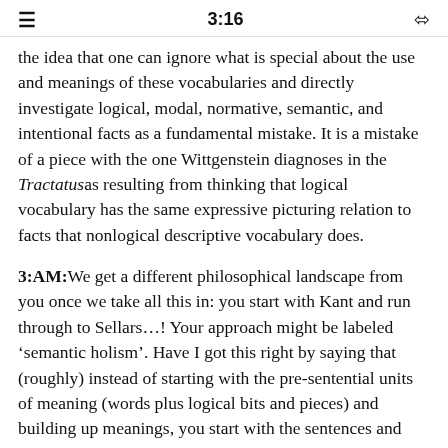3:16
the idea that one can ignore what is special about the use and meanings of these vocabularies and directly investigate logical, modal, normative, semantic, and intentional facts as a fundamental mistake. It is a mistake of a piece with the one Wittgenstein diagnoses in the Tractatus as resulting from thinking that logical vocabulary has the same expressive picturing relation to facts that nonlogical descriptive vocabulary does.
3:AM: We get a different philosophical landscape from you once we take all this in: you start with Kant and run through to Sellars...! Your approach might be labeled 'semantic holism'. Have I got this right by saying that (roughly) instead of starting with the pre-sentential units of meaning (words plus logical bits and pieces) and building up meanings, you start with the sentences and inferences to be drawn. Can you sketch how your approach works?
BR: Right. I take it that the basic move in a language game is...